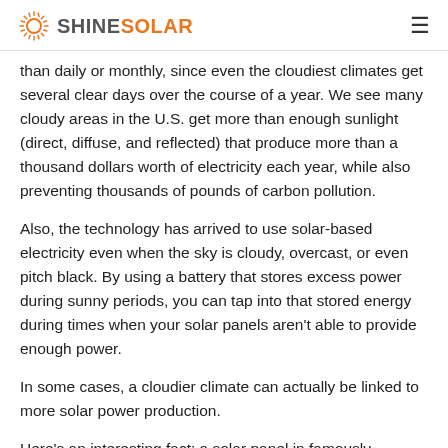SHINE SOLAR
than daily or monthly, since even the cloudiest climates get several clear days over the course of a year. We see many cloudy areas in the U.S. get more than enough sunlight (direct, diffuse, and reflected) that produce more than a thousand dollars worth of electricity each year, while also preventing thousands of pounds of carbon pollution.
Also, the technology has arrived to use solar-based electricity even when the sky is cloudy, overcast, or even pitch black. By using a battery that stores excess power during sunny periods, you can tap into that stored energy during times when your solar panels aren't able to provide enough power.
In some cases, a cloudier climate can actually be linked to more solar power production.
Here's an interesting fact: a solar panel in famously